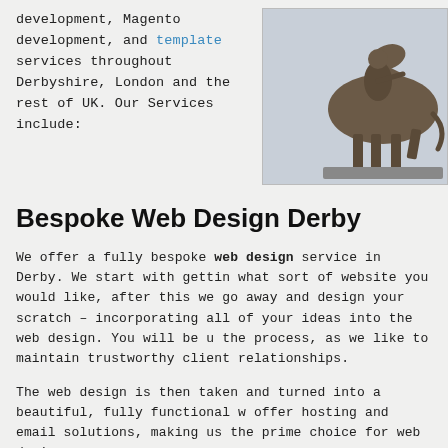development, Magento development, and template services throughout Derbyshire, London and the rest of UK. Our Services include:
[Figure (photo): Bronze equestrian statue of a rider on horseback against a light sky background]
Bespoke Web Design Derby
We offer a fully bespoke web design service in Derby. We start with getting what sort of website you would like, after this we go away and design your scratch – incorporating all of your ideas into the web design. You will be u the process, as we like to maintain trustworthy client relationships.
The web design is then taken and turned into a beautiful, fully functional w offer hosting and email solutions, making us the prime choice for web desi
CMS and E-commerce
Here at Tristar, we can also integrate your web design into many common favourites are WordPress (for content managed websites) and Magento (fo